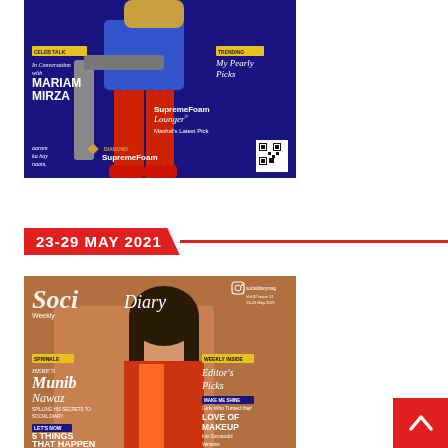[Figure (photo): Magazine cover featuring Mariam Mirza for SupremeFoam Lounger, with text: CELEB TALK In Conversation with MARIAM MIRZA, TRENDING My Pearly Picks, SupremeFoam Lounger Mashal's Latest Pick, aaram ka hay naam. Diamond SupremeFoam]
23-29 MAY 2021
[Figure (photo): Social Diary Weekly magazine cover, Vol 07 Issue 11, 23-29 May 2021, featuring a woman. Text: SPRINKLE HERE'S Munib Nawaz SPILLING HIS SECRETS TO SOCIAL DIARY, LET'S NOW 5 THINGS THAT HAPPEN, WEEKLY INSIDE Editor's Picks, MAKE ME SHINE Girls Who Turned their LOVE OF MAKEUP Into Successful Ventures]